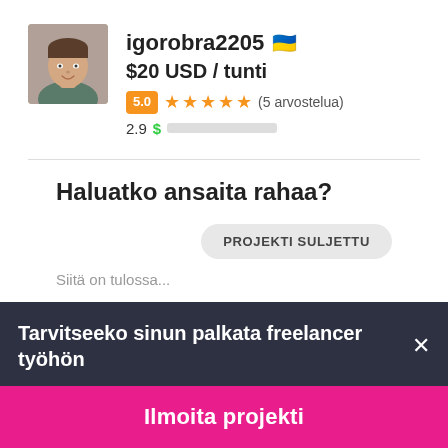[Figure (photo): Profile photo of a young man smiling, shown from shoulders up]
igorobra2205 🇺🇦
$20 USD / tunti
5.0 ★★★★★ (5 arvostelua)
2.9 $ [progress bar indicator]
Haluatko ansaita rahaa?
PROJEKTI SULJETTU
Tarvitseeko sinun palkata freelancer työhön×
Ilmoita projekti